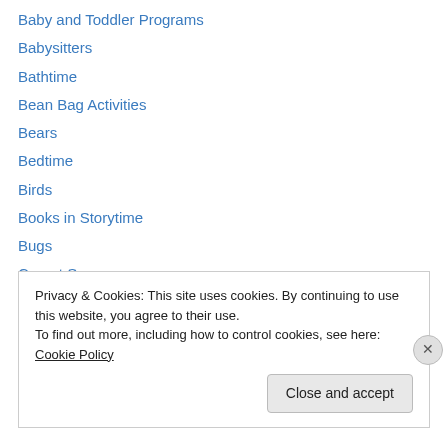Baby and Toddler Programs
Babysitters
Bathtime
Bean Bag Activities
Bears
Bedtime
Birds
Books in Storytime
Bugs
Carpet Squares
Circus
Collection development
Colors
Privacy & Cookies: This site uses cookies. By continuing to use this website, you agree to their use. To find out more, including how to control cookies, see here: Cookie Policy